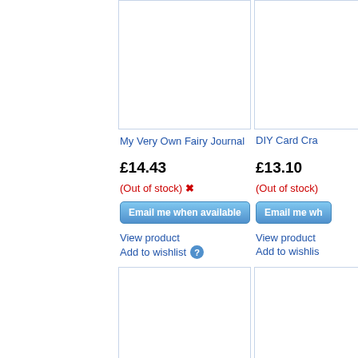[Figure (photo): Product image placeholder for My Very Own Fairy Journal]
[Figure (photo): Product image placeholder for DIY Card Cra...]
My Very Own Fairy Journal
DIY Card Cra...
£14.43
£13.10
(Out of stock) ✗
(Out of stock)
Email me when available
Email me wh...
View product
Add to wishlist
View product
Add to wishlist
[Figure (photo): Product image placeholder for Groovy Scrapbook Kit]
[Figure (photo): Product image placeholder for Ready Set C...]
Groovy Scrapbook Kit
Ready Set C...
£15.75
£10.50
(Out of stock) ✗
(Out of stock)
Email me when available
Email me wh...